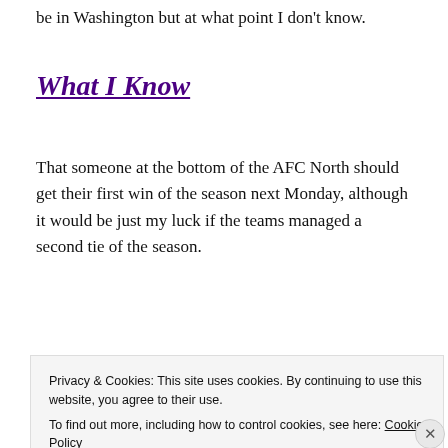be in Washington but at what point I don't know.
What I Know
That someone at the bottom of the AFC North should get their first win of the season next Monday, although it would be just my luck if the teams managed a second tie of the season.
What I Hope
Privacy & Cookies: This site uses cookies. By continuing to use this website, you agree to their use.
To find out more, including how to control cookies, see here: Cookie Policy